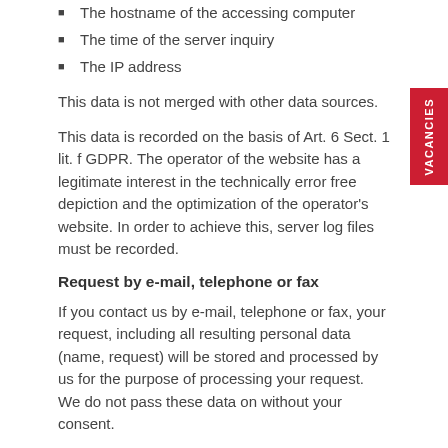The hostname of the accessing computer
The time of the server inquiry
The IP address
This data is not merged with other data sources.
This data is recorded on the basis of Art. 6 Sect. 1 lit. f GDPR. The operator of the website has a legitimate interest in the technically error free depiction and the optimization of the operator's website. In order to achieve this, server log files must be recorded.
Request by e-mail, telephone or fax
If you contact us by e-mail, telephone or fax, your request, including all resulting personal data (name, request) will be stored and processed by us for the purpose of processing your request. We do not pass these data on without your consent.
The processing of these data is based on Art. 6 para. 1 lit. b GDPR, if your request is related to the execution of a